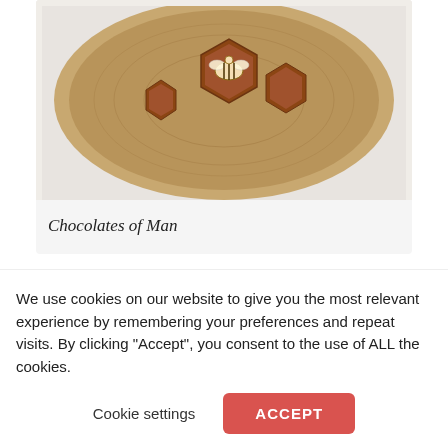[Figure (photo): Aerial view of hexagonal chocolate pieces arranged on a round wooden board, with a bee-shaped chocolate decoration in the center. White background.]
Chocolates of Man
Bath Bombs
Who doesn't enjoy a long soak in the bath? A bath bomb is
We use cookies on our website to give you the most relevant experience by remembering your preferences and repeat visits. By clicking "Accept", you consent to the use of ALL the cookies.